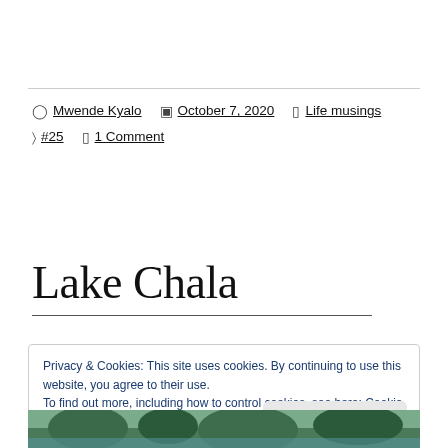Mwende Kyalo  October 7, 2020  Life musings  #25  1 Comment
Lake Chala
Privacy & Cookies: This site uses cookies. By continuing to use this website, you agree to their use.
To find out more, including how to control cookies, see here: Cookie Policy
[Figure (photo): Photo strip at bottom of page showing trees and landscape near Lake Chala]